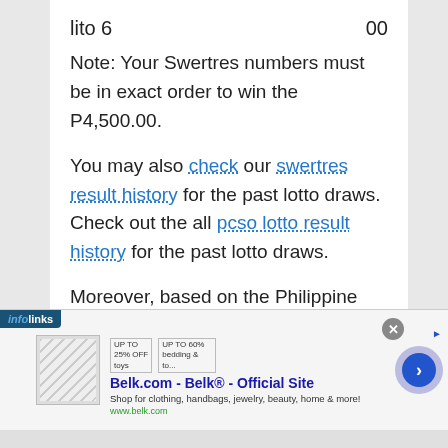lito 6    00
Note: Your Swertres numbers must be in exact order to win the P4,500.00.
You may also check our swertres result history for the past lotto draws. Check out the all pcso lotto result history for the past lotto draws.
Moreover, based on the Philippine Charity Sweepstakes Office (PCSO)
[Figure (screenshot): Advertisement banner for Belk.com - Belk® - Official Site with infolinks label, close button, product image, ad text and navigation arrow]